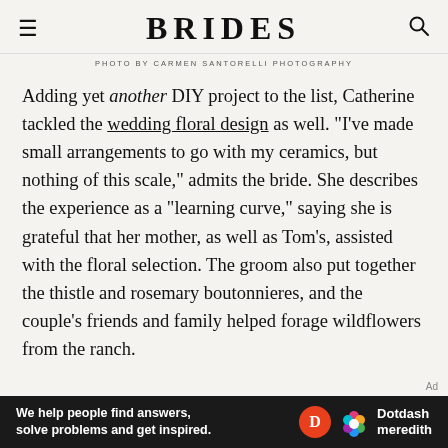BRIDES
PHOTO BY CARMEN SANTORELLI PHOTOGRAPHY
Adding yet another DIY project to the list, Catherine tackled the wedding floral design as well. "I've made small arrangements to go with my ceramics, but nothing of this scale," admits the bride. She describes the experience as a "learning curve," saying she is grateful that her mother, as well as Tom's, assisted with the floral selection. The groom also put together the thistle and rosemary boutonnieres, and the couple's friends and family helped forage wildflowers from the ranch.
[Figure (infographic): Dotdash Meredith advertisement banner: 'We help people find answers, solve problems and get inspired.']